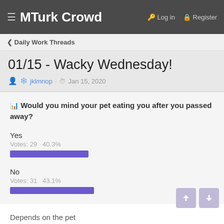MTurk Crowd  Login  Register
< Daily Work Threads
01/15 - Wacky Wednesday!
jklmnop · Jan 15, 2020
Would you mind your pet eating you after you passed away?
Yes
Votes: 29  40.3%
No
Votes: 31  43.1%
Depends on the pet